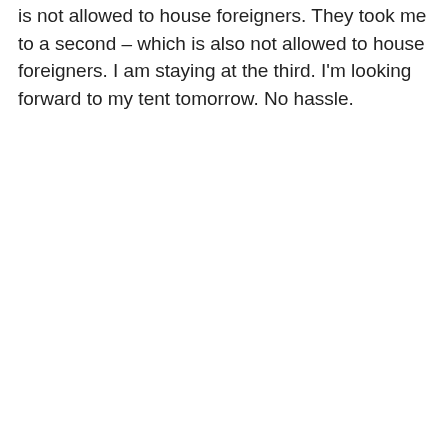is not allowed to house foreigners. They took me to a second – which is also not allowed to house foreigners. I am staying at the third. I'm looking forward to my tent tomorrow. No hassle.